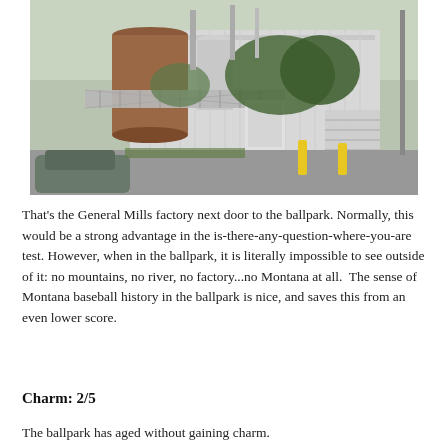[Figure (photo): Industrial factory building with grain silos, metal conveyor/bridge structures, white corrugated metal walls, trees, a car in the foreground, and yellow bollards — the General Mills factory next door to the ballpark.]
That's the General Mills factory next door to the ballpark. Normally, this would be a strong advantage in the is-there-any-question-where-you-are test. However, when in the ballpark, it is literally impossible to see outside of it: no mountains, no river, no factory...no Montana at all.  The sense of Montana baseball history in the ballpark is nice, and saves this from an even lower score.
Charm: 2/5
The ballpark has aged without gaining charm.